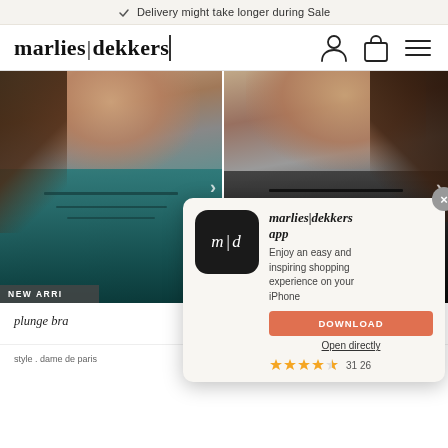✓ Delivery might take longer during Sale
marlies|dekkers
[Figure (photo): Two side-by-side product photos of models wearing Marlies Dekkers bras — left: teal/dark green lace plunge bra, right: black strappy plunge bra. Each photo shows the model from shoulder level down with face/neck partially visible.]
NEW ARRIVALS
[Figure (screenshot): App download popup overlay showing marlies|dekkers app promotion with app icon (m|d on black background), title, description, DOWNLOAD button, Open directly link, and star rating 31 26]
marlies|dekkers app
Enjoy an easy and inspiring shopping experience on your iPhone
DOWNLOAD
Open directly
★★★★½ 31 26
plunge bra
style . dame de paris
special . dame de paris